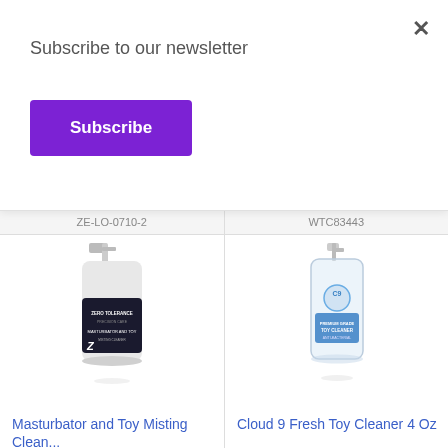Subscribe to our newsletter
Subscribe
ZE-LO-0710-2
WTC83443
[Figure (photo): Masturbator and Toy Misting Cleaner spray bottle with dark label]
Masturbator and Toy Misting Clean...
[Figure (photo): Cloud 9 Fresh Toy Cleaner 4 Oz clear spray bottle]
Cloud 9 Fresh Toy Cleaner 4 Oz